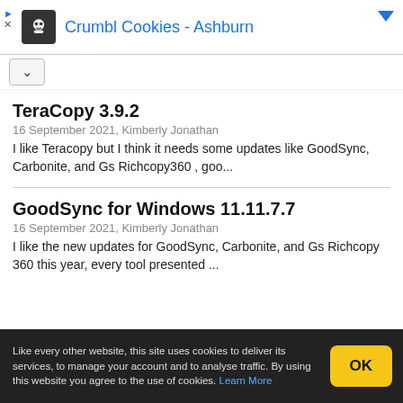[Figure (screenshot): Advertisement banner: Crumbl Cookies - Ashburn with logo and blue arrow]
TeraCopy 3.9.2
16 September 2021, Kimberly Jonathan
I like Teracopy but I think it needs some updates like GoodSync, Carbonite, and Gs Richcopy360 , goo...
GoodSync for Windows 11.11.7.7
16 September 2021, Kimberly Jonathan
I like the new updates for GoodSync, Carbonite, and Gs Richcopy 360 this year, every tool presented ...
Like every other website, this site uses cookies to deliver its services, to manage your account and to analyse traffic. By using this website you agree to the use of cookies. Learn More